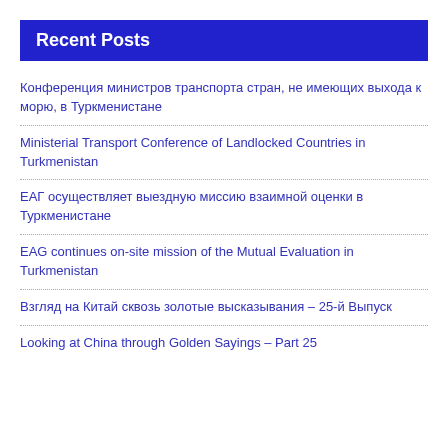Recent Posts
Конференция министров транспорта стран, не имеющих выхода к морю, в Туркменистане
Ministerial Transport Conference of Landlocked Countries in Turkmenistan
ЕАГ осуществляет выездную миссию взаимной оценки в Туркменистане
EAG continues on-site mission of the Mutual Evaluation in Turkmenistan
Взгляд на Китай сквозь золотые высказывания – 25-й Выпуск
Looking at China through Golden Sayings – Part 25